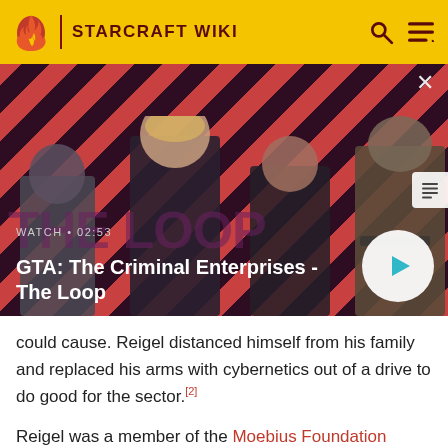STARCRAFT WIKI
[Figure (screenshot): GTA: The Criminal Enterprises - The Loop promotional video thumbnail showing four characters against a red and dark diagonal striped background. Text overlay: WATCH • 02:53, GTA: The Criminal Enterprises - The Loop. Play button visible on right.]
could cause. Reigel distanced himself from his family and replaced his arms with cybernetics out of a drive to do good for the sector.[2]
Reigel was a member of the Moebius Foundation some time before the Second Great War, and personally knew